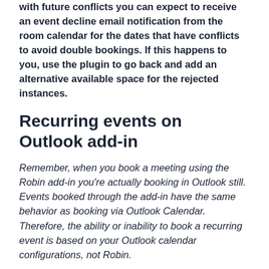with future conflicts you can expect to receive an event decline email notification from the room calendar for the dates that have conflicts to avoid double bookings. If this happens to you, use the plugin to go back and add an alternative available space for the rejected instances.
Recurring events on Outlook add-in
Remember, when you book a meeting using the Robin add-in you're actually booking in Outlook still. Events booked through the add-in have the same behavior as booking via Outlook Calendar. Therefore, the ability or inability to book a recurring event is based on your Outlook calendar configurations, not Robin.
When you're creating a recurring event, the Robin add-in will check for conflicts and communicate which spaces have future conflicts. The actual event creation depends on your organization's Outlook configurations. If you book a space with notable conflicts keep a look out for a room